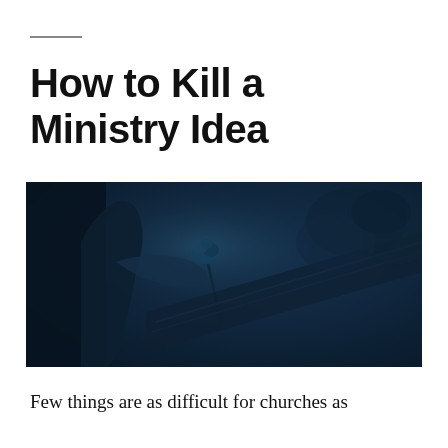How to Kill a Ministry Idea
[Figure (photo): A dark blue-tinted photograph of a person holding a rose, appearing to place it on or near a coffin or surface, with a blurred background of foliage.]
Few things are as difficult for churches as